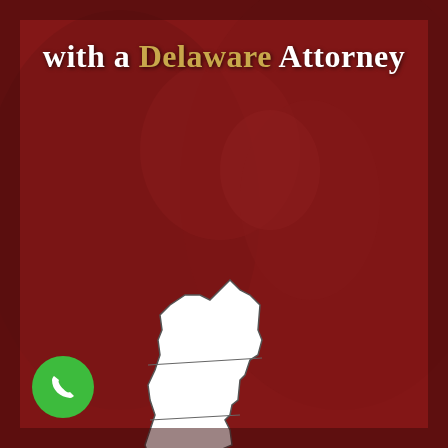[Figure (illustration): Dark red-tinted background photo of two people close together (couple), overlaid with a white silhouette map of the state of Delaware in the center-lower portion of the image, with county boundary lines drawn on it. A green phone icon button is in the lower-left corner.]
with a Delaware Attorney